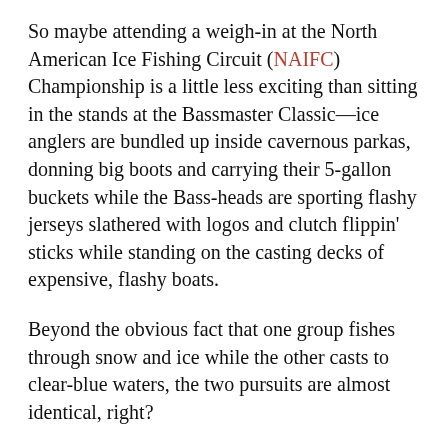So maybe attending a weigh-in at the North American Ice Fishing Circuit (NAIFC) Championship is a little less exciting than sitting in the stands at the Bassmaster Classic—ice anglers are bundled up inside cavernous parkas, donning big boots and carrying their 5-gallon buckets while the Bass-heads are sporting flashy jerseys slathered with logos and clutch flippin' sticks while standing on the casting decks of expensive, flashy boats.
Beyond the obvious fact that one group fishes through snow and ice while the other casts to clear-blue waters, the two pursuits are almost identical, right?
The truth is, despite a little lack of recognition, anglers who compete on the NAIFC tour might